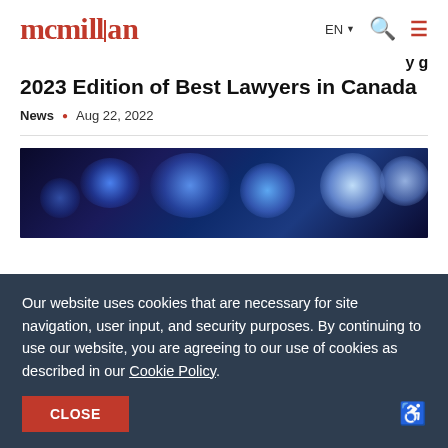mcmillan — EN navigation
2023 Edition of Best Lawyers in Canada
News · Aug 22, 2022
[Figure (photo): Abstract blue bokeh lights on dark background]
Our website uses cookies that are necessary for site navigation, user input, and security purposes. By continuing to use our website, you are agreeing to our use of cookies as described in our Cookie Policy.